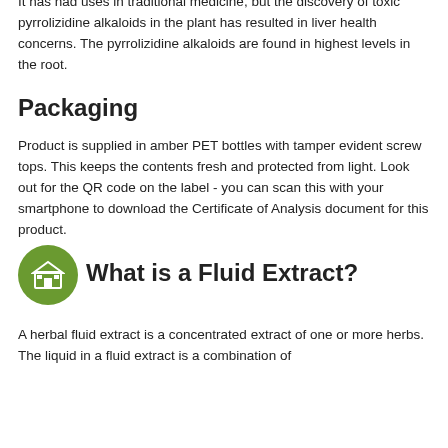It has had uses in traditional medicine, but the discovery of toxic pyrrolizidine alkaloids in the plant has resulted in liver health concerns. The pyrrolizidine alkaloids are found in highest levels in the root.
Packaging
Product is supplied in amber PET bottles with tamper evident screw tops. This keeps the contents fresh and protected from light. Look out for the QR code on the label - you can scan this with your smartphone to download the Certificate of Analysis document for this product.
[Figure (illustration): Green circular icon with a building/shop symbol in white]
What is a Fluid Extract?
A herbal fluid extract is a concentrated extract of one or more herbs. The liquid in a fluid extract is a combination of